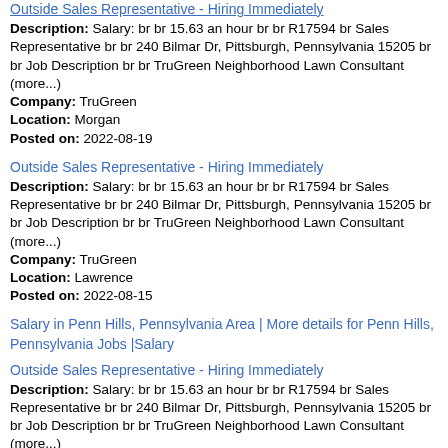Outside Sales Representative – Hiring Immediately (link, truncated at top)
Description: Salary: br br 15.63 an hour br br R17594 br Sales Representative br br 240 Bilmar Dr, Pittsburgh, Pennsylvania 15205 br br Job Description br br TruGreen Neighborhood Lawn Consultant (more...)
Company: TruGreen
Location: Morgan
Posted on: 2022-08-19
Outside Sales Representative - Hiring Immediately
Description: Salary: br br 15.63 an hour br br R17594 br Sales Representative br br 240 Bilmar Dr, Pittsburgh, Pennsylvania 15205 br br Job Description br br TruGreen Neighborhood Lawn Consultant (more...)
Company: TruGreen
Location: Lawrence
Posted on: 2022-08-15
Salary in Penn Hills, Pennsylvania Area | More details for Penn Hills, Pennsylvania Jobs |Salary
Outside Sales Representative - Hiring Immediately
Description: Salary: br br 15.63 an hour br br R17594 br Sales Representative br br 240 Bilmar Dr, Pittsburgh, Pennsylvania 15205 br br Job Description br br TruGreen Neighborhood Lawn Consultant (more...)
Company: TruGreen
Location: Morgan